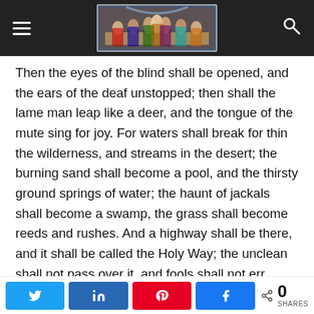Navigation header with hamburger menu, Last Supper image logo, and search icon
Then the eyes of the blind shall be opened, and the ears of the deaf unstopped; then shall the lame man leap like a deer, and the tongue of the mute sing for joy. For waters shall break for thin the wilderness, and streams in the desert; the burning sand shall become a pool, and the thirsty ground springs of water; the haunt of jackals shall become a swamp, the grass shall become reeds and rushes. And a highway shall be there, and it shall be called the Holy Way; the unclean shall not pass over it, and fools shall not err therein. No lion shall be there, nor shall any ravenous beast come up on it; they shall not be found there, but the redeemed shall walk there. And the ransomed of the Lord shall return, and come to Zion with singing; everlasting joy shall be upon their
Share buttons: Twitter, LinkedIn, Pinterest, Facebook — 0 SHARES